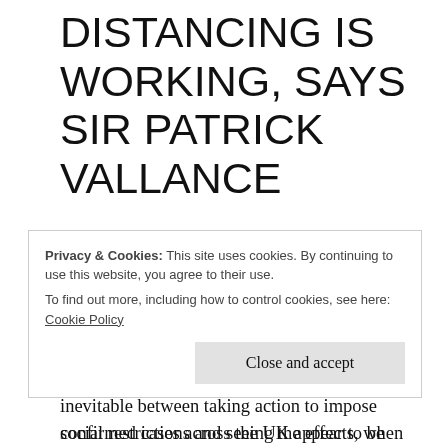DISTANCING IS WORKING, SAYS SIR PATRICK VALLANCE
Yesterday Owl broke this news, having been primed by Owl's knowledgeable friend that something encouraging was appearing in the data. These are early days, given the lag that is inevitable between taking action to impose social restrictions and seeing the effects, when
Privacy & Cookies: This site uses cookies. By continuing to use this website, you agree to their use. To find out more, including how to control cookies, see here: Cookie Policy
confirmed cases across the UK appear to be